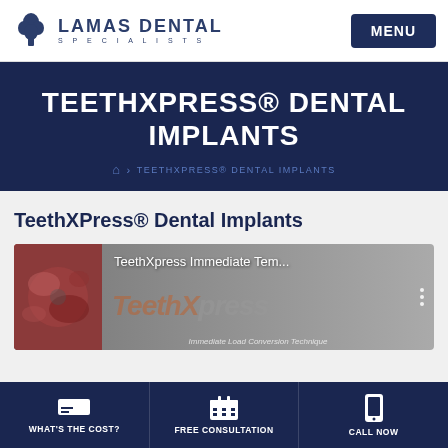LAMAS DENTAL SPECIALISTS  MENU
TEETHXPRESS® DENTAL IMPLANTS
TEETHXPRESS® DENTAL IMPLANTS (breadcrumb)
TeethXPress® Dental Implants
[Figure (screenshot): Video thumbnail showing TeethXpress Immediate Tem... with TeethXpress logo and tissue microscopy image on left]
WHAT'S THE COST?  FREE CONSULTATION  CALL NOW